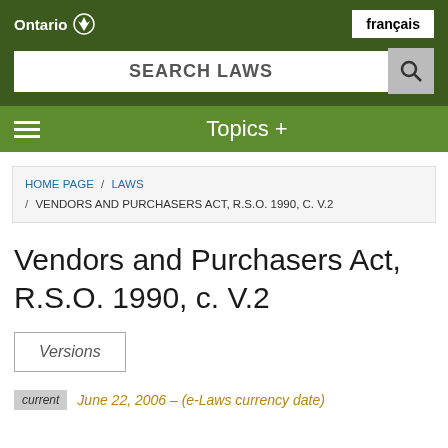Ontario | français | SEARCH LAWS
Topics +
HOME PAGE / LAWS / VENDORS AND PURCHASERS ACT, R.S.O. 1990, C. V.2
Vendors and Purchasers Act, R.S.O. 1990, c. V.2
Versions
current   June 22, 2006 – (e-Laws currency date)